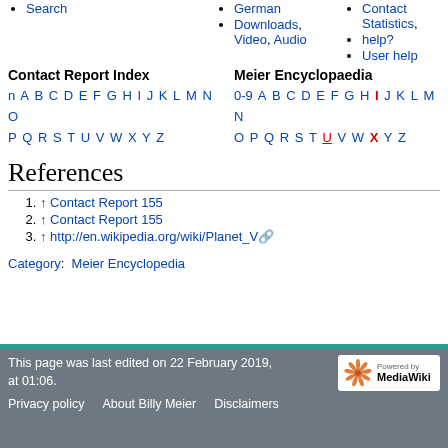Search
German
Downloads, Video, Audio
Contact Statistics,
help?
User help
Contact Report Index
Meier Encyclopaedia
n A B C D E F G H I J K L M N O P Q R S T U V W X Y Z
0-9 A B C D E F G H I J K L M N O P Q R S T U V W X Y Z
References
↑ Contact Report 155
↑ Contact Report 155
↑ http://en.wikipedia.org/wiki/Planet_V
Category: Meier Encyclopedia
This page was last edited on 22 February 2019, at 01:06.
Privacy policy  About Billy Meier  Disclaimers